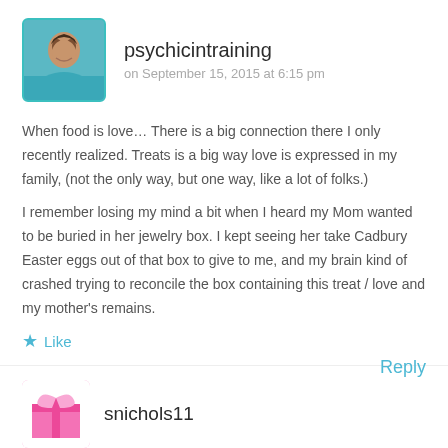[Figure (photo): Avatar photo of a woman with short dark hair, teal background, rounded square frame with teal border]
psychicintraining
on September 15, 2015 at 6:15 pm
When food is love… There is a big connection there I only recently realized. Treats is a big way love is expressed in my family, (not the only way, but one way, like a lot of folks.)
I remember losing my mind a bit when I heard my Mom wanted to be buried in her jewelry box. I kept seeing her take Cadbury Easter eggs out of that box to give to me, and my brain kind of crashed trying to reconcile the box containing this treat / love and my mother's remains.
Like
Reply
[Figure (illustration): Pink gift/present icon avatar for second commenter]
snichols11